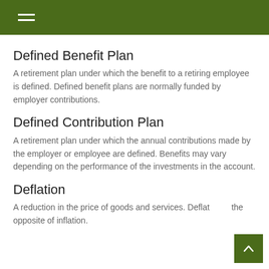Defined Benefit Plan
A retirement plan under which the benefit to a retiring employee is defined. Defined benefit plans are normally funded by employer contributions.
Defined Contribution Plan
A retirement plan under which the annual contributions made by the employer or employee are defined. Benefits may vary depending on the performance of the investments in the account.
Deflation
A reduction in the price of goods and services. Deflation is the opposite of inflation.